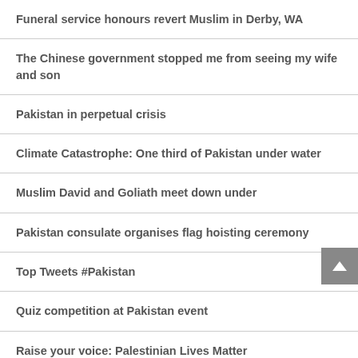Funeral service honours revert Muslim in Derby, WA
The Chinese government stopped me from seeing my wife and son
Pakistan in perpetual crisis
Climate Catastrophe: One third of Pakistan under water
Muslim David and Goliath meet down under
Pakistan consulate organises flag hoisting ceremony
Top Tweets #Pakistan
Quiz competition at Pakistan event
Raise your voice: Palestinian Lives Matter